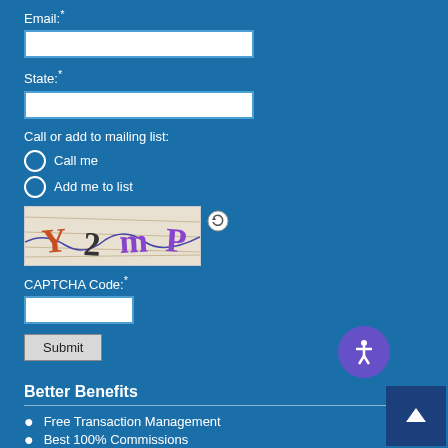Email:*
[Figure (screenshot): Email input text field (white rectangle)]
State:*
[Figure (screenshot): State input text field (white rectangle)]
Call or add to mailing list:
Call me
Add me to list
[Figure (screenshot): CAPTCHA image showing 'Y 2 mP' text with a refresh icon]
CAPTCHA Code:*
[Figure (screenshot): CAPTCHA code input text field (white rectangle)]
[Figure (screenshot): Submit button]
Better Benefits
Free Transaction Management
Best 100% Commissions
Free E&amp;O Free per Deal
Free In-House Marketing
Free Property Marketing